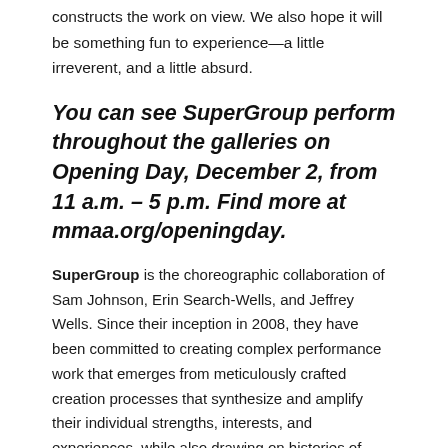constructs the work on view. We also hope it will be something fun to experience—a little irreverent, and a little absurd.
You can see SuperGroup perform throughout the galleries on Opening Day, December 2, from 11 a.m. – 5 p.m. Find more at mmaa.org/openingday.
SuperGroup is the choreographic collaboration of Sam Johnson, Erin Search-Wells, and Jeffrey Wells. Since their inception in 2008, they have been committed to creating complex performance work that emerges from meticulously crafted creation processes that synthesize and amplify their individual strengths, interests, and experiences, while also drawing on histories of contemporary performance. They create work that simultaneously reflects the messy contradictions of our complicated lives and encourages alternate perceptions of what we think we know. Rooted in